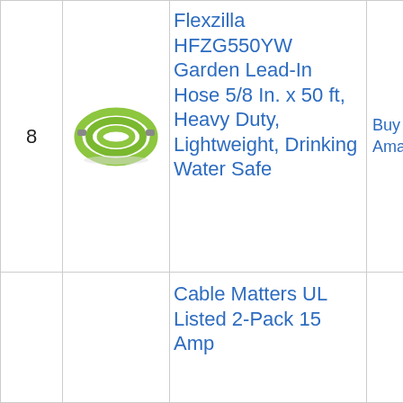| # | Image | Product | Link |
| --- | --- | --- | --- |
| 8 | [hose image] | Flexzilla HFZG550YW Garden Lead-In Hose 5/8 In. x 50 ft, Heavy Duty, Lightweight, Drinking Water Safe | Buy on Amazon |
|  |  | Cable Matters UL Listed 2-Pack 15 Amp |  |